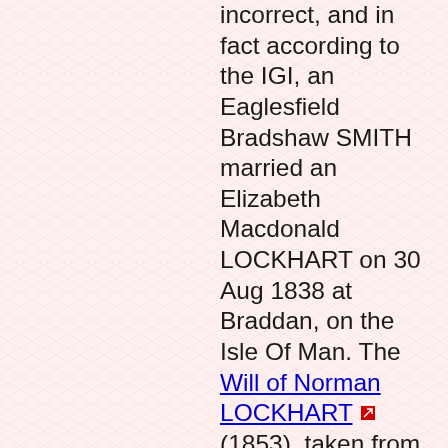incorrect, and in fact according to the IGI, an Eaglesfield Bradshaw SMITH married an Elizabeth Macdonald LOCKHART on 30 Aug 1838 at Braddan, on the Isle Of Man. The Will of Norman LOCKHART (1853), taken from the Scottish Archives, refers to his daughter Elizabeth Macdonald, wife of Eaglesfield Bradshaw